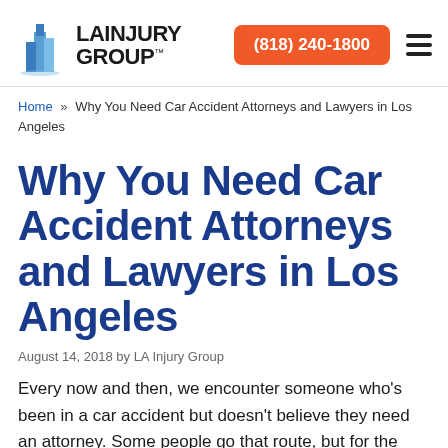LA INJURY GROUP | (818) 240-1800
Home » Why You Need Car Accident Attorneys and Lawyers in Los Angeles
Why You Need Car Accident Attorneys and Lawyers in Los Angeles
August 14, 2018 by LA Injury Group
Every now and then, we encounter someone who's been in a car accident but doesn't believe they need an attorney. Some people go that route, but for the